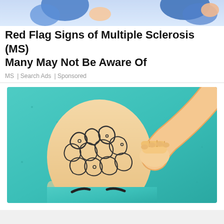[Figure (illustration): Partial top banner showing illustrated figures in blue tones - appears to be a cropped portion of an MS awareness advertisement image]
Red Flag Signs of Multiple Sclerosis (MS) Many May Not Be Aware Of
MS | Search Ads | Sponsored
[Figure (illustration): Digital illustration of a bald cartoon-style person with swirling brain-like patterns on their scalp, with a hand pressing/touching the top of the head, set against a teal/turquoise textured background. An X close button appears in the lower right corner of the image.]